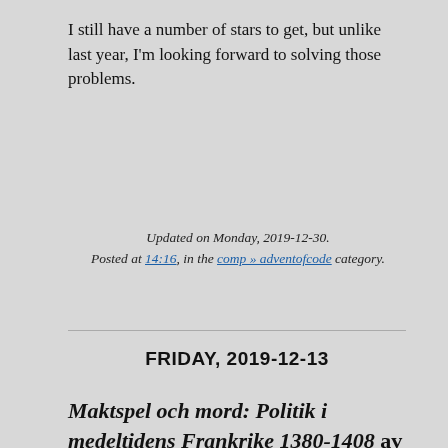I still have a number of stars to get, but unlike last year, I'm looking forward to solving those problems.
Updated on Monday, 2019-12-30. Posted at 14:16, in the comp » adventofcode category.
FRIDAY, 2019-12-13
Maktspel och mord: Politik i medeltidens Frankrike 1380-1408 av Michael Nordberg [SvSe]
Ett djupdyk kring Frankrikes inrikespolitik kring 1407. Författaren har inte mycket till övers för Barbara Tuchmans A Distant Mirror men jag tycker båda verken har sina förli...